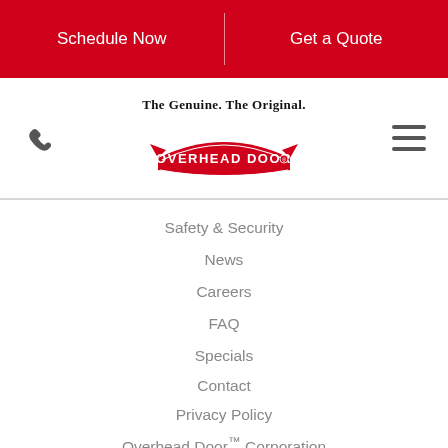Schedule Now | Get a Quote
[Figure (logo): Overhead Door logo with tagline 'The Genuine. The Original.' and red banner logo]
Safety & Security
News
Careers
FAQ
Specials
Contact
Privacy Policy
Overhead Door™ Corporation